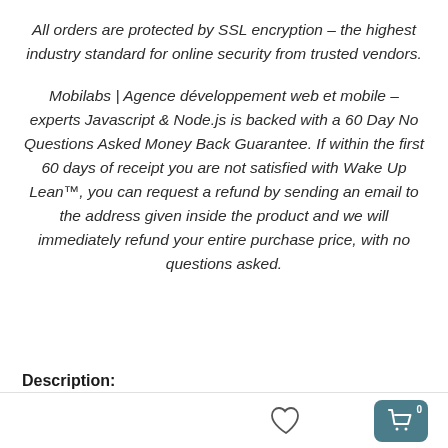All orders are protected by SSL encryption – the highest industry standard for online security from trusted vendors.
Mobilabs | Agence développement web et mobile – experts Javascript & Node.js is backed with a 60 Day No Questions Asked Money Back Guarantee. If within the first 60 days of receipt you are not satisfied with Wake Up Lean™, you can request a refund by sending an email to the address given inside the product and we will immediately refund your entire purchase price, with no questions asked.
Description:
[Figure (other): Bottom navigation bar with a heart (wishlist) icon in the center and a teal cart button with badge '0' on the right]